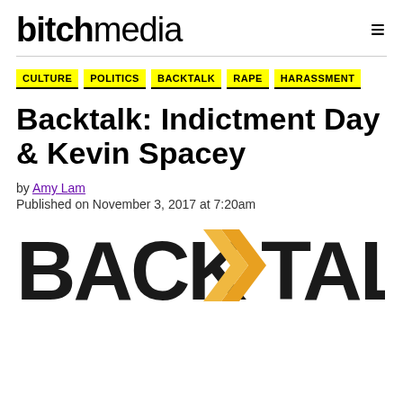bitch media
CULTURE
POLITICS
BACKTALK
RAPE
HARASSMENT
Backtalk: Indictment Day & Kevin Spacey
by Amy Lam
Published on November 3, 2017 at 7:20am
[Figure (logo): BACKTALK logo in large bold black letters with an orange geometric arrow/chevron shape between BACK and TALK]